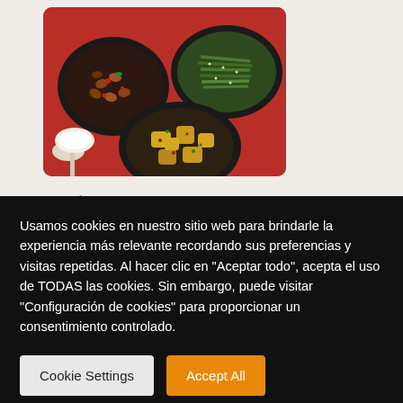[Figure (photo): Photo of Indian vegetable dishes served in dark bowls on a red tablecloth: a legume/bean dish top-left, green beans/asparagus top-right, and potato curry bottom-center. A spoon and white bowl visible at lower-left.]
26 août 2022
Meilleurs plats indiens à base de legumes
Usamos cookies en nuestro sitio web para brindarle la experiencia más relevante recordando sus preferencias y visitas repetidas. Al hacer clic en "Aceptar todo", acepta el uso de TODAS las cookies. Sin embargo, puede visitar "Configuración de cookies" para proporcionar un consentimiento controlado.
Cookie Settings
Accept All